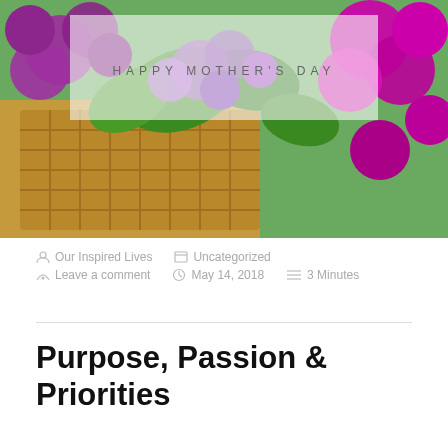[Figure (photo): A wicker basket filled with purple and magenta lilac flowers with green leaves, with a semi-transparent white overlay box in the upper center displaying the text HAPPY MOTHER'S DAY in spaced gray letters.]
Our Inspired Lives   Uncategorized   Leave a comment   May 14, 2018   3 Minutes
Purpose, Passion & Priorities